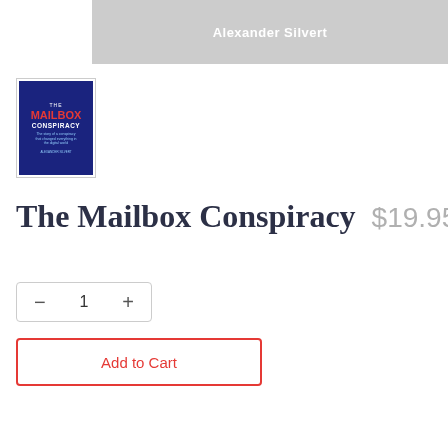Alexander Silvert
[Figure (illustration): Book cover thumbnail for 'The Mailbox Conspiracy' by Alexander Silvert. Dark blue background with red and white text.]
The Mailbox Conspiracy
$19.95
— 1 +
Add to Cart